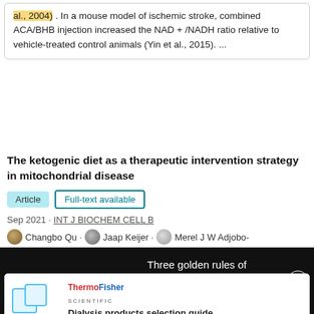al., 2004) . In a mouse model of ischemic stroke, combined ACA/BHB injection increased the NAD + /NADH ratio relative to vehicle-treated control animals (Yin et al., 2015). ...
The ketogenic diet as a therapeutic intervention strategy in mitochondrial disease
Article   Full-text available
Sep 2021 · INT J BIOCHEM CELL B
Changbo Qu · Jaap Keijer · Merel J W Adjobo-
[Figure (screenshot): Black overlay banner with red bracket icon '[]' on left, white text 'Three golden rules of successful STEM marketing' in center-right, and a white circle close button (X) on the far right.]
[Figure (photo): Advertisement for ThermoFisher Scientific Dialysis products selection guide, showing the ThermoFisher Scientific logo, a product image of lab containers, and bold text 'Dialysis products selection guide'.]